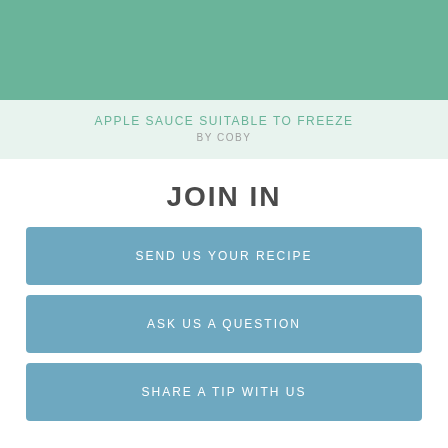[Figure (other): Green teal banner at the top of the page]
APPLE SAUCE SUITABLE TO FREEZE
BY COBY
JOIN IN
SEND US YOUR RECIPE
ASK US A QUESTION
SHARE A TIP WITH US
FOLLOW NIGELLA ON